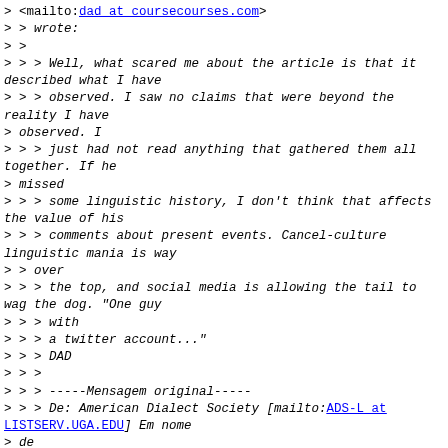> <mailto:dad at coursecourses.com>
> > wrote:
> >
> > > Well, what scared me about the article is that it described what I have
> > > observed. I saw no claims that were beyond the reality I have
> observed. I
> > > just had not read anything that gathered them all together. If he
> missed
> > > some linguistic history, I don't think that affects the value of his
> > > comments about present events. Cancel-culture linguistic mania is way
> > over
> > > the top, and social media is allowing the tail to wag the dog. "One guy
> > > with
> > > a twitter account..."
> > > DAD
> > >
> > > -----Mensagem original-----
> > > De: American Dialect Society [mailto:ADS-L at LISTSERV.UGA.EDU] Em nome
> de
> > > dave at wilton.net<mailto:dave at wilton.net>
> > > Enviada em: quarta-feira, 20 de outubro de 2021 17:48
> > > Para: ADS-L at LISTSERV.UGA.EDU<mailto:ADS-L at LISTSERV.UGA.EDU>